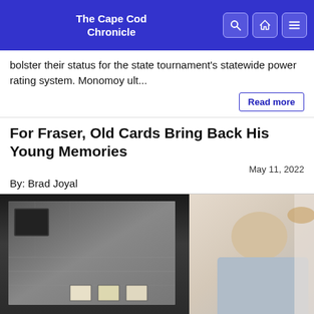The Cape Cod Chronicle
bolster their status for the state tournament's statewide power rating system. Monomoy ult...
Read more
For Fraser, Old Cards Bring Back His Young Memories
May 11, 2022
By: Brad Joyal
[Figure (photo): A smiling man in a light blue shirt standing next to a large framed display of old baseball cards/stadium artwork]